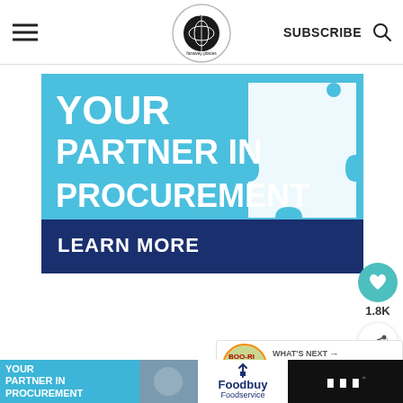food fun & faraway places — SUBSCRIBE
[Figure (advertisement): Blue advertisement banner reading YOUR PARTNER IN PROCUREMENT with LEARN MORE button and puzzle piece graphic]
[Figure (infographic): Social sidebar with heart icon showing 1.8K and share button]
[Figure (infographic): What's Next panel with thumbnail and title 20 Halloween Cakes]
Your friends and family will think
[Figure (advertisement): Bottom sticky ad bar: YOUR PARTNER IN PROCUREMENT with Foodbuy Foodservice logo]